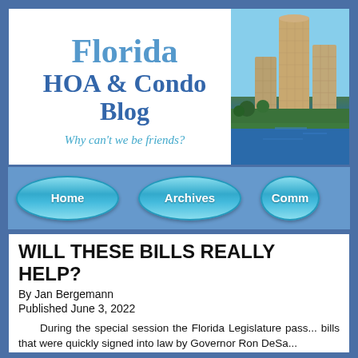[Figure (other): Florida HOA & Condo Blog header banner with text on left and photo of coastal high-rise building on right. Text reads: Florida / HOA & Condo Blog / Why can't we be friends?]
[Figure (other): Navigation bar with three oval/pill-shaped aqua buttons: Home, Archives, Comm... (partially visible)]
WILL THESE BILLS REALLY HELP?
By Jan Bergemann
Published June 3, 2022
During the special session the Florida Legislature pass... bills that were quickly signed into law by Governor Ron DeSa...
SB 2D – Property Insurance
SB 4D – Building Safety
Both bills were quickly signed and they enable S...